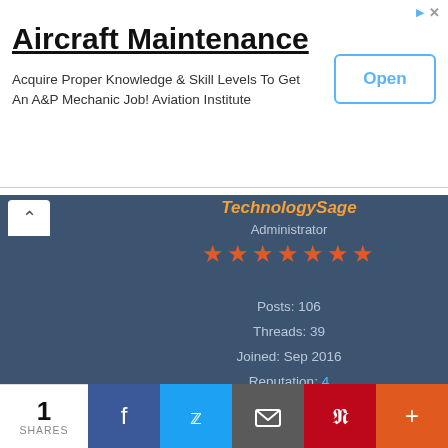[Figure (screenshot): Advertisement banner for Aircraft Maintenance course with Open button]
Aircraft Maintenance
Acquire Proper Knowledge & Skill Levels To Get An A&P Mechanic Job! Aviation Institute
TechnologySage
Administrator
★★★★★★★
Posts: 106
Threads: 39
Joined: Sep 2016
Reputation: 4
12-15-2017, 08:40 PM
#5
harsidi88 Wrote:  👍  (12-13-2017, 04:07 AM)
It worked like a magic.no root needed.very simple yet effective
1 SHARES